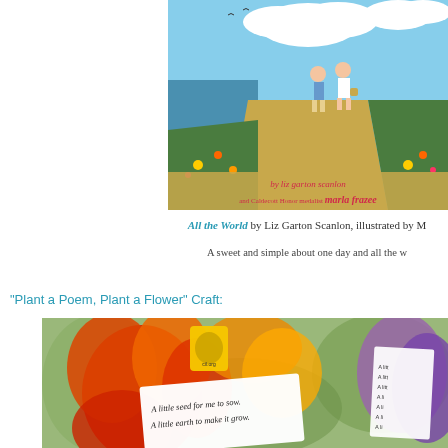[Figure (illustration): Book cover of 'All the World' showing two children walking on a flower-lined path toward the ocean, with author 'liz garton scanlon' and illustrator 'marla frazee' credited in stylized text at the bottom.]
All the World by Liz Garton Scanlon, illustrated by M...
A sweet and simple about one day and all the...
"Plant a Poem, Plant a Flower" Craft:
[Figure (photo): Photo of paper flower craft with printed poem text 'A little seed for me to sow. A little earth to make it grow.' visible on white paper folded inside red and orange paper flower petals. A small logo sticker is visible on the craft.]